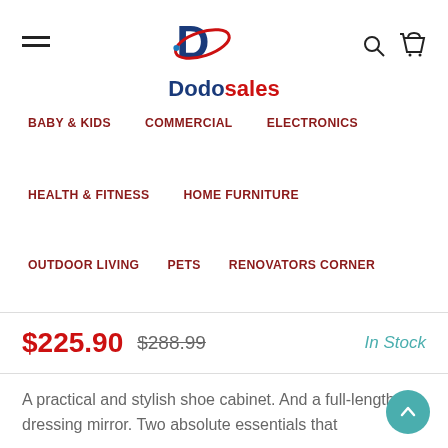[Figure (logo): Dodosales logo with stylized D in blue and red swoosh, text 'Dodo' in dark blue and 'sales' in red]
BABY & KIDS   COMMERCIAL   ELECTRONICS
HEALTH & FITNESS   HOME FURNITURE
OUTDOOR LIVING   PETS   RENOVATORS CORNER
$225.90  $288.99  In Stock
A practical and stylish shoe cabinet. And a full-length dressing mirror. Two absolute essentials that